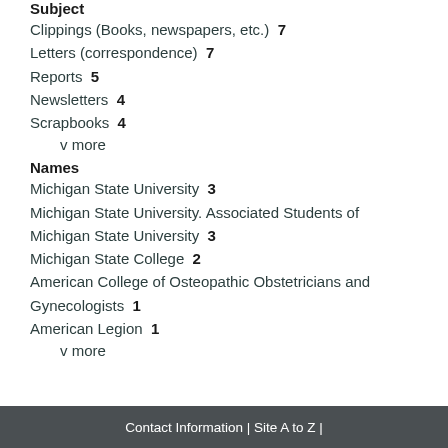Subject
Clippings (Books, newspapers, etc.)  7
Letters (correspondence)  7
Reports  5
Newsletters  4
Scrapbooks  4
v more
Names
Michigan State University  3
Michigan State University. Associated Students of Michigan State University  3
Michigan State College  2
American College of Osteopathic Obstetricians and Gynecologists  1
American Legion  1
v more
Contact Information | Site A to Z |